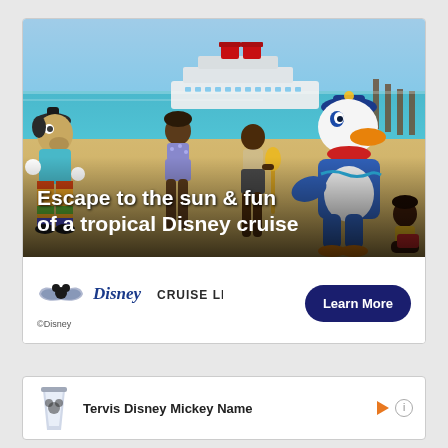[Figure (photo): Disney Cruise Line advertisement showing Goofy and Donald Duck characters on a tropical beach with children, cruise ship in background, with text overlay 'Escape to the sun & fun of a tropical Disney cruise']
Escape to the sun & fun of a tropical Disney cruise
[Figure (logo): Disney Cruise Line logo with Mickey Mouse wings graphic and stylized Disney Cruise Line text, with ©Disney copyright notice]
Learn More
[Figure (photo): Second advertisement card at bottom showing Tervis Disney Mickey Name product with small product image]
Tervis Disney Mickey Name